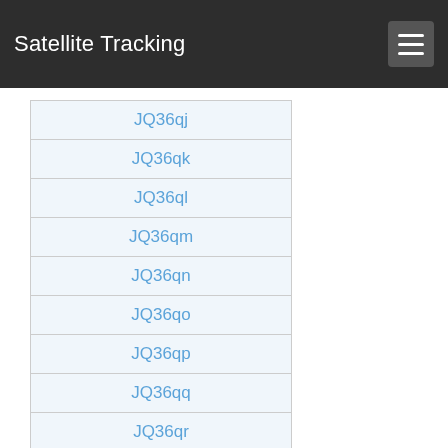Satellite Tracking
JQ36qj
JQ36qk
JQ36ql
JQ36qm
JQ36qn
JQ36qo
JQ36qp
JQ36qq
JQ36qr
JQ36qs
JQ36qt
JQ36qu
JQ36qv
JQ36qw
JQ36qx
JQ36ra
JQ36rb